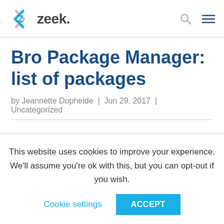zeek.
Bro Package Manager: list of packages
by Jeannette Dopheide | Jun 29, 2017 | Uncategorized
This website uses cookies to improve your experience. We'll assume you're ok with this, but you can opt-out if you wish.
Cookie settings | ACCEPT